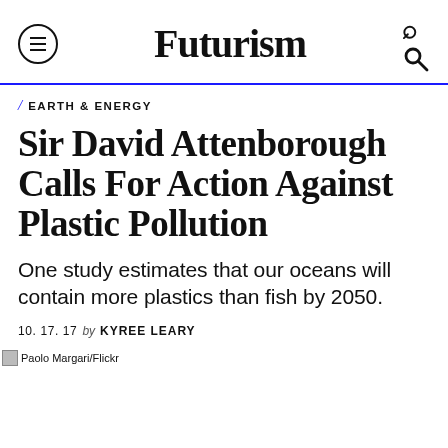Futurism
EARTH & ENERGY
Sir David Attenborough Calls For Action Against Plastic Pollution
One study estimates that our oceans will contain more plastics than fish by 2050.
10. 17. 17 by KYREE LEARY
Paolo Margari/Flickr